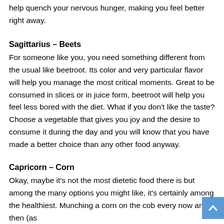help quench your nervous hunger, making you feel better right away.
Sagittarius – Beets
For someone like you, you need something different from the usual like beetroot. Its color and very particular flavor will help you manage the most critical moments. Great to be consumed in slices or in juice form, beetroot will help you feel less bored with the diet. What if you don't like the taste? Choose a vegetable that gives you joy and the desire to consume it during the day and you will know that you have made a better choice than any other food anyway.
Capricorn – Corn
Okay, maybe it's not the most dietetic food there is but among the many options you might like, it's certainly among the healthiest. Munching a corn on the cob every now and then (as